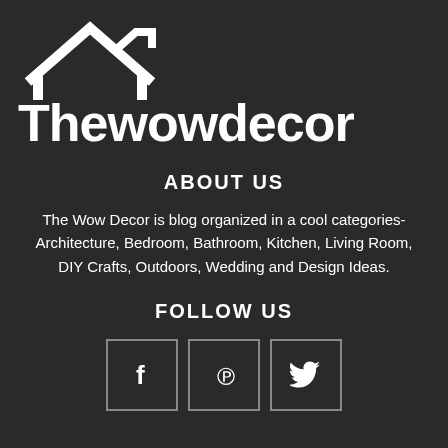[Figure (logo): Thewowdecor logo with a house/roof icon above the text]
ABOUT US
The Wow Decor is blog organized in a cool categories- Architecture, Bedroom, Bathroom, Kitchen, Living Room, DIY Crafts, Outdoors, Wedding and Design Ideas.
FOLLOW US
[Figure (infographic): Three social media icon boxes: Facebook (f), Pinterest (p), Twitter (bird icon)]